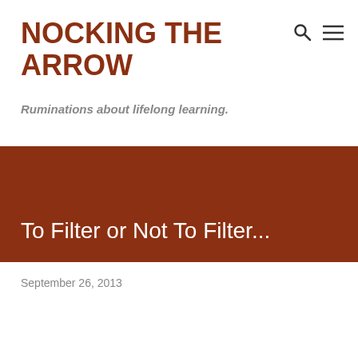NOCKING THE ARROW
Ruminations about lifelong learning.
To Filter or Not To Filter...
September 26, 2013